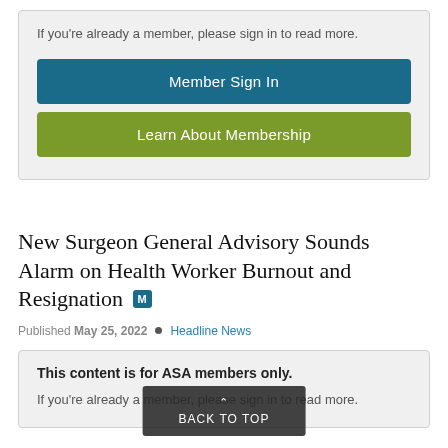If you're already a member, please sign in to read more.
Member Sign In
Learn About Membership
New Surgeon General Advisory Sounds Alarm on Health Worker Burnout and Resignation
Published May 25, 2022 ■ Headline News
This content is for ASA members only.
If you're already a member, please sign in to read more.
BACK TO TOP